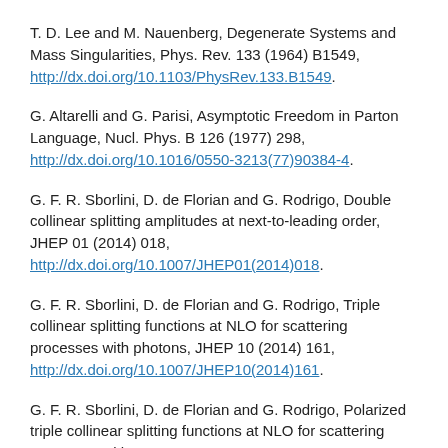T. D. Lee and M. Nauenberg, Degenerate Systems and Mass Singularities, Phys. Rev. 133 (1964) B1549, http://dx.doi.org/10.1103/PhysRev.133.B1549.
G. Altarelli and G. Parisi, Asymptotic Freedom in Parton Language, Nucl. Phys. B 126 (1977) 298, http://dx.doi.org/10.1016/0550-3213(77)90384-4.
G. F. R. Sborlini, D. de Florian and G. Rodrigo, Double collinear splitting amplitudes at next-to-leading order, JHEP 01 (2014) 018, http://dx.doi.org/10.1007/JHEP01(2014)018.
G. F. R. Sborlini, D. de Florian and G. Rodrigo, Triple collinear splitting functions at NLO for scattering processes with photons, JHEP 10 (2014) 161, http://dx.doi.org/10.1007/JHEP10(2014)161.
G. F. R. Sborlini, D. de Florian and G. Rodrigo, Polarized triple collinear splitting functions at NLO for scattering processes with...